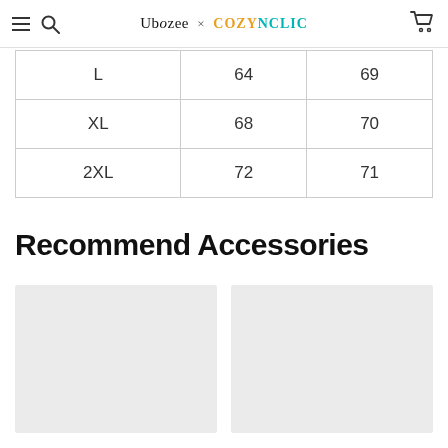Ubozee × COZYNCLIC
| L | 64 | 69 |
| XL | 68 | 70 |
| 2XL | 72 | 71 |
Recommend Accessories
[Figure (photo): Two product image placeholders side by side (light gray boxes)]